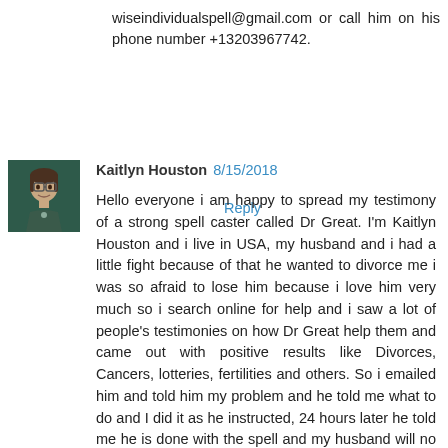wiseindividualspell@gmail.com or call him on his phone number +13203967742.
Reply
Kaitlyn Houston 8/15/2018
Hello everyone i am happy to spread my testimony of a strong spell caster called Dr Great. I'm Kaitlyn Houston and i live in USA, my husband and i had a little fight because of that he wanted to divorce me i was so afraid to lose him because i love him very much so i search online for help and i saw a lot of people's testimonies on how Dr Great help them and came out with positive results like Divorces, Cancers, lotteries, fertilities and others. So i emailed him and told him my problem and he told me what to do and I did it as he instructed, 24 hours later he told me he is done with the spell and my husband will no longer divorce me and when my husband came back from work he told me he won't divorce me anymore he said he didn't know what came over him that he is sorry I was so happy and I thank